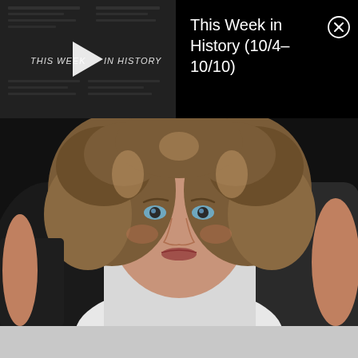[Figure (screenshot): Video thumbnail preview showing 'THIS WEEK IN HISTORY' text overlay with a play button icon, on a dark/desaturated news collage background]
This Week in History (10/4–10/10)
[Figure (photo): Close-up portrait photo of a woman with curly light-brown hair, blue eyes, wearing a white sleeveless top, arms raised to the sides. Black background.]
[Figure (other): Light gray horizontal bar at the bottom of the screen (UI element / progress bar area)]